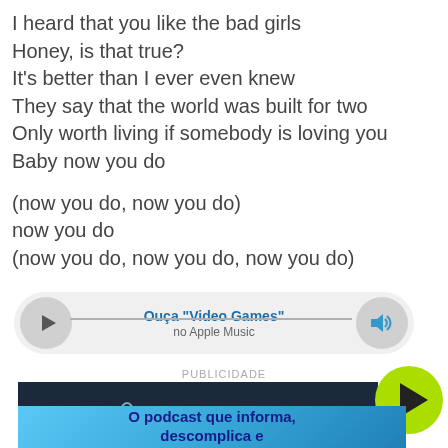I heard that you like the bad girls
Honey, is that true?
It's better than I ever even knew
They say that the world was built for two
Only worth living if somebody is loving you
Baby now you do

(now you do, now you do)
now you do
(now you do, now you do, now you do)
[Figure (other): Audio player bar with play button, track title 'Ouça "Video Games"' and subtitle 'no Apple Music', and volume button]
PUBLICIDADE
[Figure (screenshot): Dark advertisement image showing a microphone icon and the text 'ARQUIVO' with a green play button overlay in the top right corner]
O podcast que informa, descomplica e